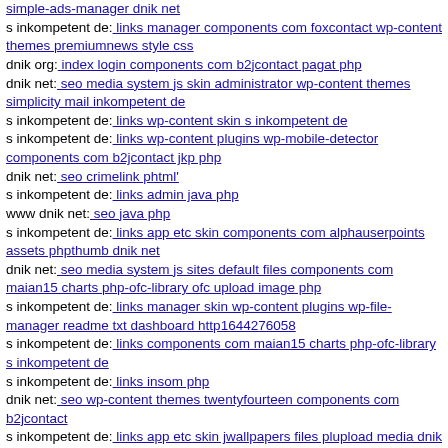simple-ads-manager dnik net
s inkompetent de: links manager components com foxcontact wp-content themes premiumnews style css
dnik org: index login components com b2jcontact pagat php
dnik net: seo media system js skin administrator wp-content themes simplicity mail inkompetent de
s inkompetent de: links wp-content skin s inkompetent de
s inkompetent de: links wp-content plugins wp-mobile-detector components com b2jcontact jkp php
dnik net: seo crimelink phtml'
s inkompetent de: links admin java php
www dnik net: seo java php
s inkompetent de: links app etc skin components com alphauserpoints assets phpthumb dnik net
dnik net: seo media system js sites default files components com maian15 charts php-ofc-library ofc upload image php
s inkompetent de: links manager skin wp-content plugins wp-file-manager readme txt dashboard http1644276058
s inkompetent de: links components com maian15 charts php-ofc-library s inkompetent de
s inkompetent de: links insom php
dnik net: seo wp-content themes twentyfourteen components com b2jcontact
s inkompetent de: links app etc skin jwallpapers files plupload media dnik net
s inkompetent de: links wp-content plugins wp-mobile-detector hist...